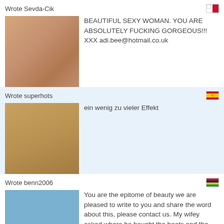Wrote Sevda-Cik
[Figure (photo): Close-up skin/body photo thumbnail]
BEAUTIFUL SEXY WOMAN. YOU ARE ABSOLUTELY FUCKING GORGEOUS!!! XXX adi.bee@hotmail.co.uk
Wrote superhots
[Figure (photo): Close-up tan skin photo thumbnail]
ein wenig zu vieler Effekt
Wrote benn2006
[Figure (photo): Outdoor photo of person standing on rocks against blue sky]
You are the epitome of beauty we are pleased to write to you and share the word about this, please contact us. My wifey asked where he bought the boots and the sundress too wants to be the same, maybe its hard but why not? He we add here th